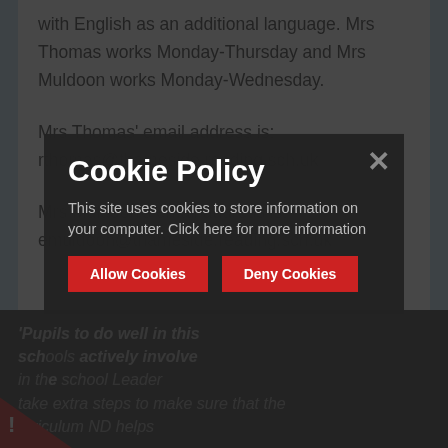with English as an additional language. Mrs Thomas works Monday-Thursday and Mrs Muldoon works Monday-Wednesday.
Mrs Thomas' email address is:
rthomas@thameside.reading.sch.uk
Mrs Muldoon's email address is:
emuldoon@thameside.reading.sch.uk
'Pu... to do well in this sch... ly involve in th... hool Leader take extra steps to make sure that the urr... ND helps
[Figure (other): Cookie Policy overlay dialog with title 'Cookie Policy', body text 'This site uses cookies to store information on your computer. Click here for more information', and two red buttons: 'Allow Cookies' and 'Deny Cookies'. A grey X close button is in the top right. A red triangle with exclamation mark is in the bottom left.]